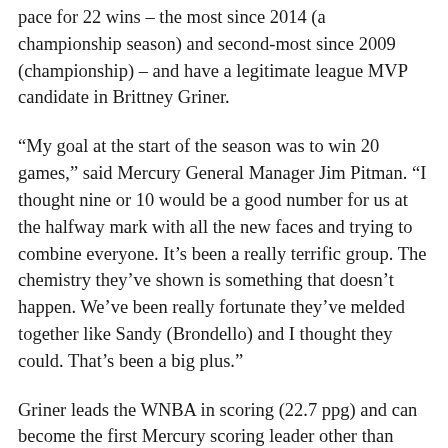pace for 22 wins – the most since 2014 (a championship season) and second-most since 2009 (championship) – and have a legitimate league MVP candidate in Brittney Griner.
“My goal at the start of the season was to win 20 games,” said Mercury General Manager Jim Pitman. “I thought nine or 10 would be a good number for us at the halfway mark with all the new faces and trying to combine everyone. It’s been a really terrific group. The chemistry they’ve shown is something that doesn’t happen. We’ve been really fortunate they’ve melded together like Sandy (Brondello) and I thought they could. That’s been a big plus.”
Griner leads the WNBA in scoring (22.7 ppg) and can become the first Mercury scoring leader other than Diana Taurasi in a full season since 2003. Taurasi played just eight games in 2012 due to injury, a 7-27 season leading to the selection of 6-9 Griner with the